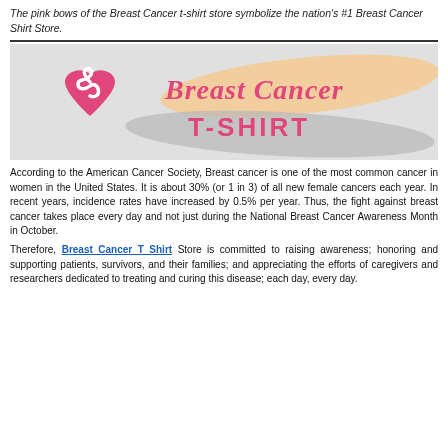The pink bows of the Breast Cancer t-shirt store symbolize the nation's #1 Breast Cancer Shirt Store.
[Figure (logo): Breast Cancer T-Shirt store logo with pink heart and ribbon on left, cursive 'Breast Cancer' text and bold 'T-SHIRT' on right, on a grey background with peach/tan brushstroke accent]
According to the American Cancer Society, Breast cancer is one of the most common cancer in women in the United States. It is about 30% (or 1 in 3) of all new female cancers each year. In recent years, incidence rates have increased by 0.5% per year. Thus, the fight against breast cancer takes place every day and not just during the National Breast Cancer Awareness Month in October.
Therefore, Breast Cancer T Shirt Store is committed to raising awareness; honoring and supporting patients, survivors, and their families; and appreciating the efforts of caregivers and researchers dedicated to treating and curing this disease; each day, every day.